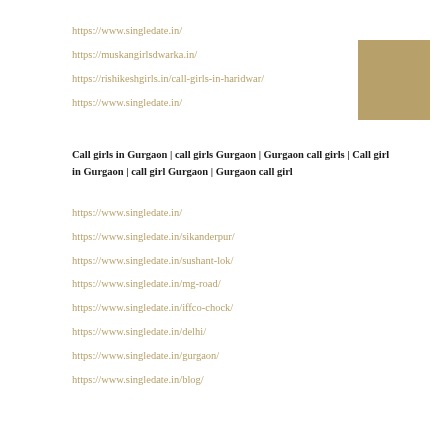https://www.singledate.in/
https://muskangirlsdwarka.in/
https://rishikeshgirls.in/call-girls-in-haridwar/
https://www.singledate.in/
[Figure (other): Gold/tan colored square box in upper right corner]
Call girls in Gurgaon | call girls Gurgaon | Gurgaon call girls | Call girl in Gurgaon | call girl Gurgaon | Gurgaon call girl
https://www.singledate.in/
https://www.singledate.in/sikanderpur/
https://www.singledate.in/sushant-lok/
https://www.singledate.in/mg-road/
https://www.singledate.in/iffco-chock/
https://www.singledate.in/delhi/
https://www.singledate.in/gurgaon/
https://www.singledate.in/blog/